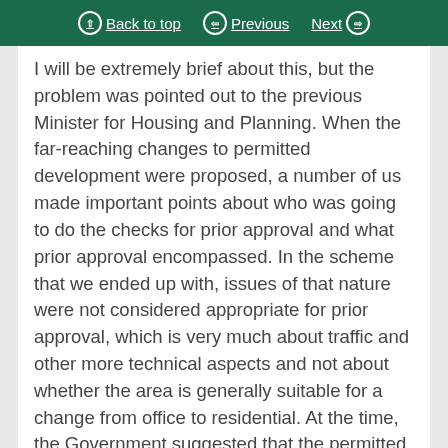Back to top | Previous | Next
I will be extremely brief about this, but the problem was pointed out to the previous Minister for Housing and Planning. When the far-reaching changes to permitted development were proposed, a number of us made important points about who was going to do the checks for prior approval and what prior approval encompassed. In the scheme that we ended up with, issues of that nature were not considered appropriate for prior approval, which is very much about traffic and other more technical aspects and not about whether the area is generally suitable for a change from office to residential. At the time, the Government suggested that the permitted development changes would be temporary, but now they are being made permanent.